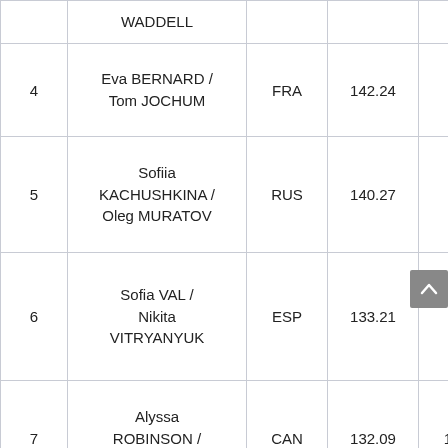| Rank | Name | Nation | Score | Place |
| --- | --- | --- | --- | --- |
|  | WADDELL |  |  |  |
| 4 | Eva BERNARD / Tom JOCHUM | FRA | 142.24 | 5 |
| 5 | Sofiia KACHUSHKINA / Oleg MURATOV | RUS | 140.27 | 4 |
| 6 | Sofia VAL / Nikita VITRYANYUK | ESP | 133.21 | 6 |
| 7 | Alyssa ROBINSON / Jacob PORTZ | CAN | 132.09 | 11 |
| 8 | Sofiya LUKINSKAYA / Danil PAK | KAZ | 132.05 | 7 |